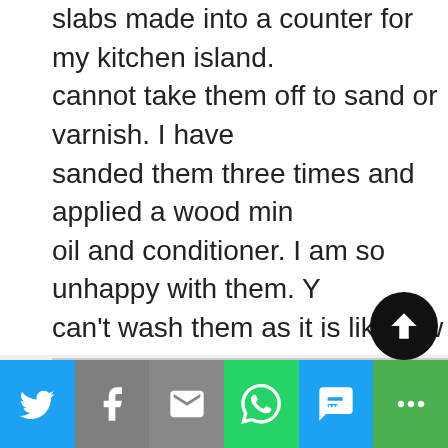slabs made into a counter for my kitchen island. cannot take them off to sand or varnish. I have sanded them three times and applied a wood min oil and conditioner. I am so unhappy with them. Y can't wash them as it is like raw wood. I have also read that before you apply Waterlox, you should this conditioner on the wood? Now that they are place, should I just wait until the weather is warm open the windows , board all the animals and proceed with sanding and Waterlox? I have looke many people's blogs regards this, but yours is the first I have seen to use Waterlox . Thank you for help.
[Figure (screenshot): Social sharing bar at bottom with Twitter, Facebook, Email, WhatsApp, SMS, and more buttons. Also shows a scroll-to-top circular button.]